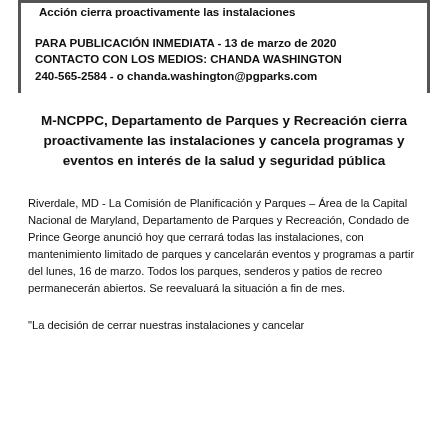Acción cierra proactivamente las instalaciones
PARA PUBLICACIÓN INMEDIATA - 13 de marzo de 2020
CONTACTO CON LOS MEDIOS: CHANDA WASHINGTON
240-565-2584 - o chanda.washington@pgparks.com
M-NCPPC, Departamento de Parques y Recreación cierra proactivamente las instalaciones y cancela programas y eventos en interés de la salud y seguridad pública
Riverdale, MD - La Comisión de Planificación y Parques – Área de la Capital Nacional de Maryland, Departamento de Parques y Recreación, Condado de Prince George anunció hoy que cerrará todas las instalaciones, con mantenimiento limitado de parques y cancelarán eventos y programas a partir del lunes, 16 de marzo. Todos los parques, senderos y patios de recreo permanecerán abiertos. Se reevaluará la situación a fin de mes.
"La decisión de cerrar nuestras instalaciones y cancelar